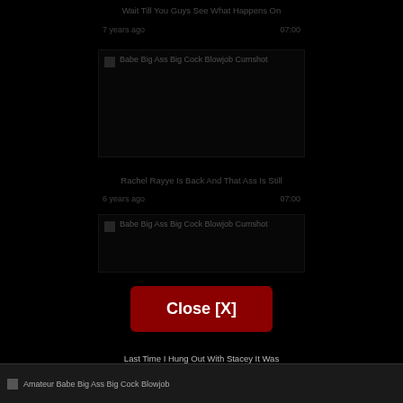Wait Till You Guys See What Happens On
7 years ago	07:00
[Figure (screenshot): Video thumbnail placeholder: Babe Big Ass Big Cock Blowjob Cumshot]
Rachel Rayye Is Back And That Ass Is Still
6 years ago	07:00
[Figure (screenshot): Video thumbnail placeholder: Babe Big Ass Big Cock Blowjob Cumshot]
Close [X]
Last Time I Hung Out With Stacey It Was
7 years ago	07:00
[Figure (screenshot): Video thumbnail placeholder: Amateur Babe Big Ass Big Cock Blowjob]